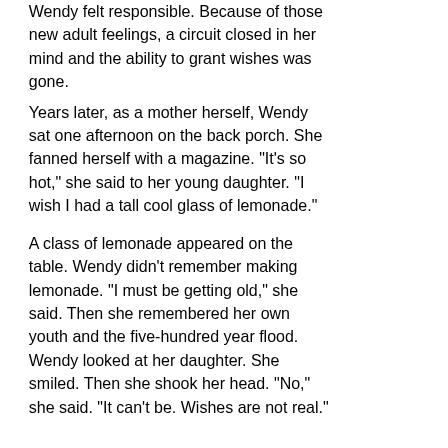Wendy felt responsible. Because of those new adult feelings, a circuit closed in her mind and the ability to grant wishes was gone.
Years later, as a mother herself, Wendy sat one afternoon on the back porch. She fanned herself with a magazine. "It's so hot," she said to her young daughter. "I wish I had a tall cool glass of lemonade."
A class of lemonade appeared on the table. Wendy didn't remember making lemonade. "I must be getting old," she said. Then she remembered her own youth and the five-hundred year flood.
Wendy looked at her daughter. She smiled. Then she shook her head. "No," she said. "It can't be. Wishes are not real."
Carnival Parade  •  Photo Posted Thurdsay, June 19, 2008  [iLINK]  •  (2008) 24th Street, San Francisco, California  •  © 2008 Bryan Costales  [CC BY-NC]  #BP20080619.jpg
Add a comment or report a mistake